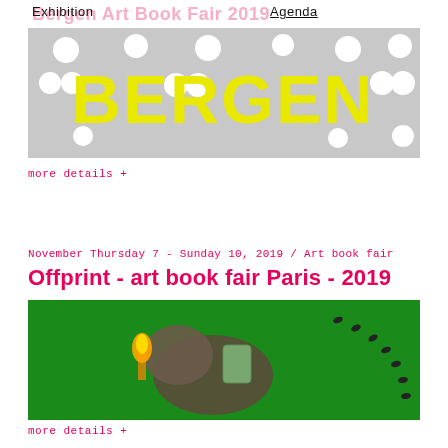Bergen Art Book Fair 2019 | Exhibition    Agenda
[Figure (illustration): Bergen Art Book Fair 2019 banner — grey background with circular holes/cutouts and large yellow bold text spelling BERGEN]
more details +
November Thursday 7 - Sunday 10, 2019 / Art book fair
Offprint - art book fair Paris - 2019
[Figure (photo): Green background image showing a creature (goat/ram-like figure) with a golden torch, with dark animal footprints scattered in upper right area]
more details +